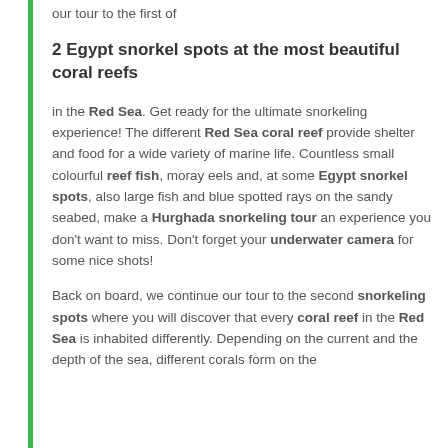our tour to the first of
2 Egypt snorkel spots at the most beautiful coral reefs
in the Red Sea. Get ready for the ultimate snorkeling experience! The different Red Sea coral reef provide shelter and food for a wide variety of marine life. Countless small colourful reef fish, moray eels and, at some Egypt snorkel spots, also large fish and blue spotted rays on the sandy seabed, make a Hurghada snorkeling tour an experience you don't want to miss. Don't forget your underwater camera for some nice shots!
Back on board, we continue our tour to the second snorkeling spots where you will discover that every coral reef in the Red Sea is inhabited differently. Depending on the current and the depth of the sea, different corals form on the